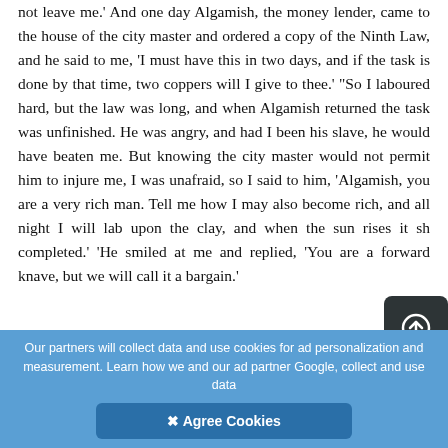not leave me.' And one day Algamish, the money lender, came to the house of the city master and ordered a copy of the Ninth Law, and he said to me, 'I must have this in two days, and if the task is done by that time, two coppers will I give to thee.' "So I laboured hard, but the law was long, and when Algamish returned the task was unfinished. He was angry, and had I been his slave, he would have beaten me. But knowing the city master would not permit him to injure me, I was unafraid, so I said to him, 'Algamish, you are a very rich man. Tell me how I may also become rich, and all night I will labour upon the clay, and when the sun rises it shall be completed.' 'He smiled at me and replied, 'You are a forward knave, but we will call it a bargain.'
Our partners will collect data and use cookies for ad personalization and measurement. Learn how we and our ad partner Google, collect and use data